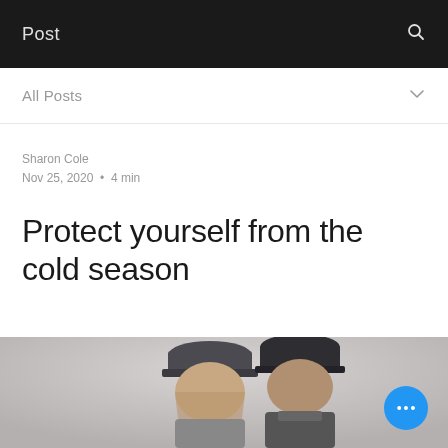Post
All Posts
Sharon Cole
Nov 25, 2020  •  4 min
Protect yourself from the cold season
[Figure (photo): Two people wearing dark winter beanies, appearing to laugh or look down, with a snowy or wintry blurred background. A blue circular button with three dots (ellipsis) overlays the bottom right of the image.]